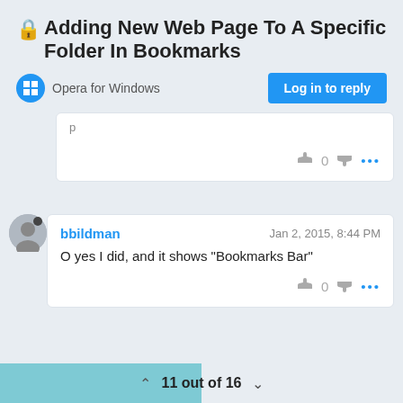🔒Adding New Web Page To A Specific Folder In Bookmarks
Opera for Windows
Log in to reply
[Figure (other): Partial comment card with vote icons showing thumbs up, 0, thumbs down, and more dots]
[Figure (other): User avatar icon (generic grey circle with dot)]
bbildman
Jan 2, 2015, 8:44 PM
O yes I did, and it shows "Bookmarks Bar"
11 out of 16